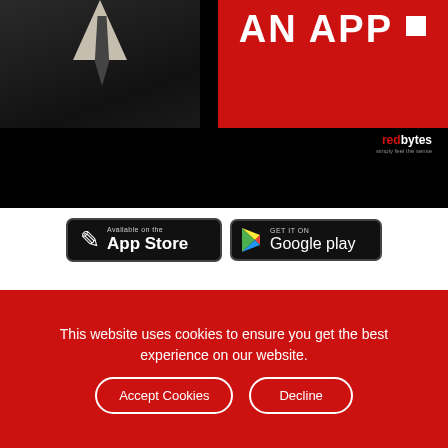[Figure (photo): Advertisement banner showing a man in a suit with 'AN APP' text on red background and redbytes logo]
[Figure (other): App Store and Google Play download buttons]
App Cost Calculator
Our app cost calculating tool provides a transparent and detailed estimation of your mobile app as per the design of
This website uses cookies to ensure you get the best experience on our website.